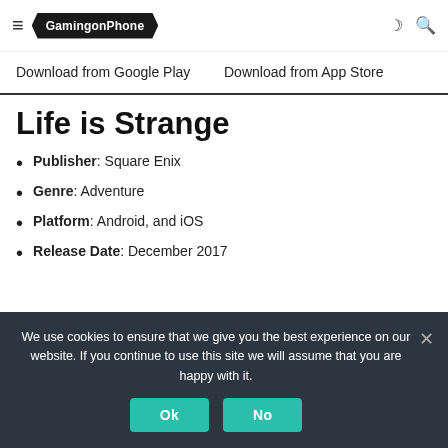GamingonPhone
Download from Google Play
Download from App Store
Life is Strange
Publisher: Square Enix
Genre: Adventure
Platform: Android, and iOS
Release Date: December 2017
We use cookies to ensure that we give you the best experience on our website. If you continue to use this site we will assume that you are happy with it.